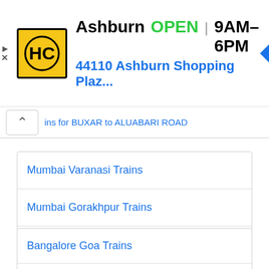[Figure (screenshot): Advertisement banner for HC business in Ashburn showing logo, OPEN status, hours 9AM-6PM, address 44110 Ashburn Shopping Plaz..., and navigation arrow icon]
ins for BUXAR to ALUABARI ROAD
Mumbai Varanasi Trains
Mumbai Gorakhpur Trains
Mumbai Goa Trains
Mumbai Delhi Trains
Bangalore Goa Trains
Delhi Goa Trains